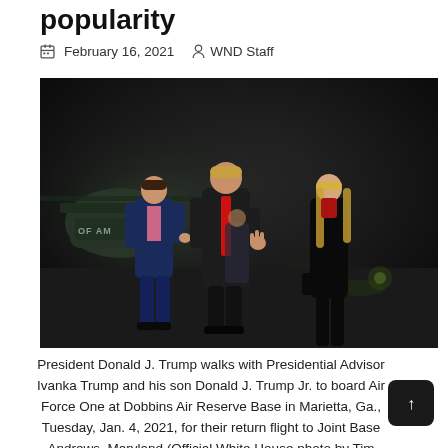popularity
February 16, 2021   WND Staff
[Figure (photo): President Donald J. Trump walks on a tarmac at night with Presidential Advisor Ivanka Trump and his son Donald J. Trump Jr., with Marine One helicopter visible in the background. Three figures walking in front, a fourth person behind them.]
President Donald J. Trump walks with Presidential Advisor Ivanka Trump and his son Donald J. Trump Jr. to board Air Force One at Dobbins Air Reserve Base in Marietta, Ga., Tuesday, Jan. 4, 2021, for their return flight to Joint Base Andrews, Maryland (Official White House photo by Tim...